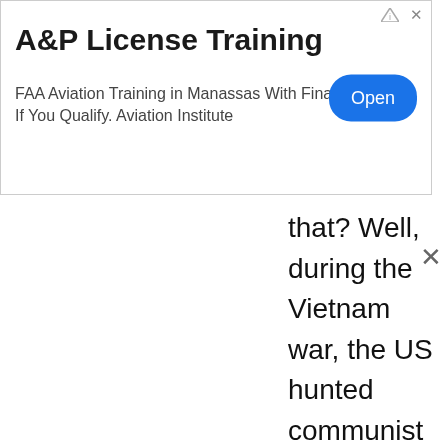[Figure (screenshot): Advertisement banner for A&P License Training. Title: 'A&P License Training'. Body text: 'FAA Aviation Training in Manassas With Financial Aid If You Qualify. Aviation Institute'. Blue 'Open' button on the right. Small ad info icon and close X in top-right corner.]
that? Well, during the Vietnam war, the US hunted communist forces in the countryside of Cambodia, terrifying populations who escaped to the cities and probably destroying crops and polluting the